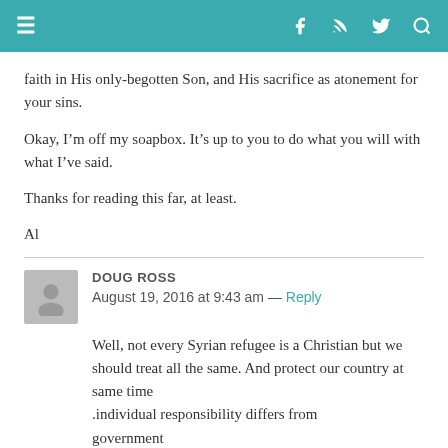Navigation header with hamburger menu and social icons (Facebook, RSS, Twitter, Search)
faith in His only-begotten Son, and His sacrifice as atonement for your sins.
Okay, I'm off my soapbox. It's up to you to do what you will with what I've said.
Thanks for reading this far, at least.
Al
DOUG ROSS
August 19, 2016 at 9:43 am — Reply
Well, not every Syrian refugee is a Christian but we should treat all the same. And protect our country at same time
.individual responsibility differs from government